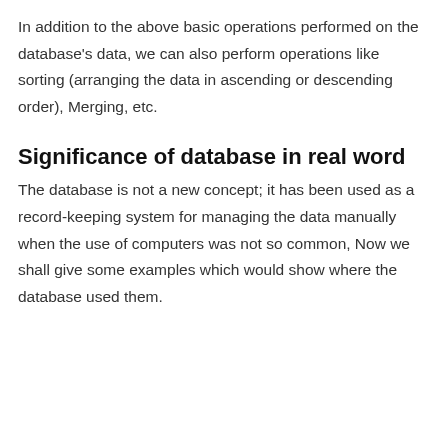In addition to the above basic operations performed on the database's data, we can also perform operations like sorting (arranging the data in ascending or descending order), Merging, etc.
Significance of database in real word
The database is not a new concept; it has been used as a record-keeping system for managing the data manually when the use of computers was not so common, Now we shall give some examples which would show where the database used them.